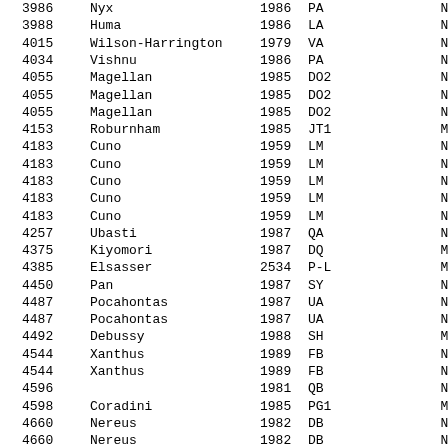| ID | Name | Year | Code | Org |
| --- | --- | --- | --- | --- |
| 3986 | Nyx | 1986 | PA | NEA |
| 3988 | Huma | 1986 | LA | NEA |
| 4015 | Wilson-Harrington | 1979 | VA | NEA |
| 4034 | Vishnu | 1986 | PA | NEA |
| 4055 | Magellan | 1985 | DO2 | NEA |
| 4055 | Magellan | 1985 | DO2 | NEA |
| 4055 | Magellan | 1985 | DO2 | NEA |
| 4153 | Roburnham | 1985 | JT1 | MBA |
| 4183 | Cuno | 1959 | LM | NEA |
| 4183 | Cuno | 1959 | LM | NEA |
| 4183 | Cuno | 1959 | LM | NEA |
| 4183 | Cuno | 1959 | LM | NEA |
| 4183 | Cuno | 1959 | LM | NEA |
| 4257 | Ubasti | 1987 | QA | NEA |
| 4375 | Kiyomori | 1987 | DQ | MBA |
| 4385 | Elsasser | 2534 | P-L | MBA |
| 4450 | Pan | 1987 | SY | NEA |
| 4487 | Pocahontas | 1987 | UA | NEA |
| 4487 | Pocahontas | 1987 | UA | NEA |
| 4492 | Debussy | 1988 | SH | MBA |
| 4544 | Xanthus | 1989 | FB | NEA |
| 4544 | Xanthus | 1989 | FB | NEA |
| 4596 |  | 1981 | QB | NEA |
| 4598 | Coradini | 1985 | PG1 | MBA |
| 4660 | Nereus | 1982 | DB | NEA |
| 4660 | Nereus | 1982 | DB | NEA |
| 4674 | Pauling | 1989 | JC | MBA |
| 4683 | Veratar | 1976 | GJ1 | MBA |
| 4769 | Castalia | 1989 | PB | NEA |
| 4891 | Blaga | 1984 | GR | MBA |
| 4947 | Ninkasi | 1988 | TJ1 | NEA |